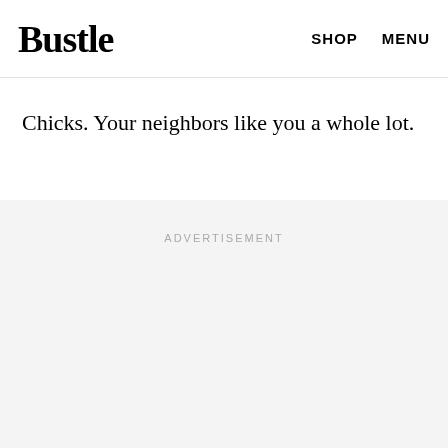Bustle  SHOP  MENU
you didn't... only you cannot... try creating it... but it was in a sauce pan every night while cranking Dixie
Chicks. Your neighbors like you a whole lot.
ADVERTISEMENT